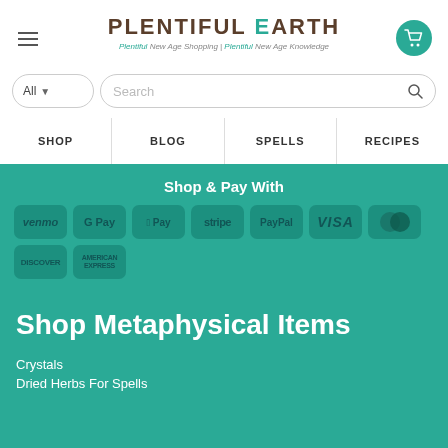Plentiful Earth — Plentiful New Age Shopping | Plentiful New Age Knowledge
Search
SHOP   BLOG   SPELLS   RECIPES
Shop & Pay With
[Figure (logo): Payment method logos: Venmo, G Pay, Apple Pay, Stripe, PayPal, VISA, Mastercard, Discover, American Express]
Shop Metaphysical Items
Crystals
Dried Herbs For Spells